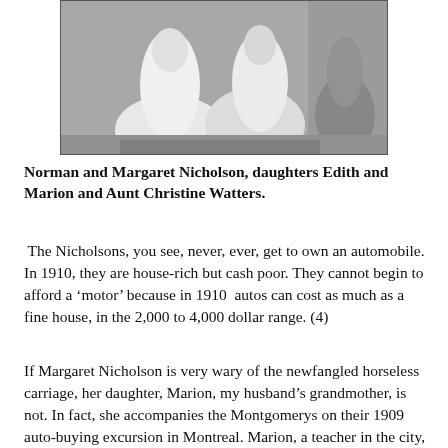[Figure (photo): Black and white photograph showing people in white dresses/clothing, partially cropped at the top of the page]
Norman and Margaret Nicholson, daughters Edith and Marion and Aunt Christine Watters.
The Nicholsons, you see, never, ever, get to own an automobile. In 1910, they are house-rich but cash poor. They cannot begin to afford a ‘motor’ because in 1910  autos can cost as much as a fine house, in the 2,000 to 4,000 dollar range. (4)
If Margaret Nicholson is very wary of the newfangled horseless carriage, her daughter, Marion, my husband’s grandmother, is not. In fact, she accompanies the Montgomerys on their 1909  auto-buying excursion in Montreal. Marion, a teacher in the city, tells her mother about